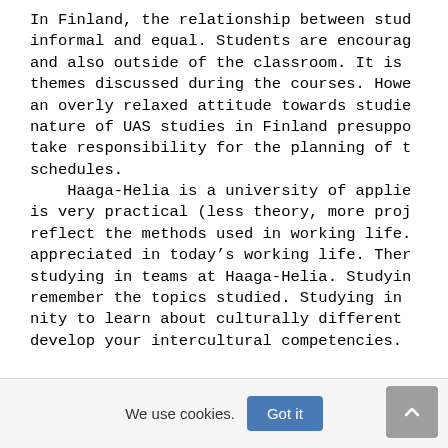In Finland, the relationship between stud informal and equal. Students are encourag and also outside of the classroom. It is themes discussed during the courses. Howe an overly relaxed attitude towards studie nature of UAS studies in Finland presuppo take responsibility for the planning of t schedules.
    Haaga-Helia is a university of applie is very practical (less theory, more proj reflect the methods used in working life. appreciated in today's working life. Ther studying in teams at Haaga-Helia. Studyin remember the topics studied. Studying in nity to learn about culturally different develop your intercultural competencies.
We use cookies.
Got it